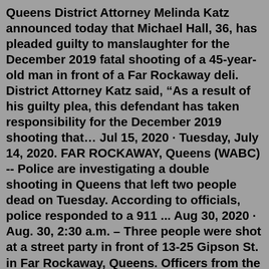Queens District Attorney Melinda Katz announced today that Michael Hall, 36, has pleaded guilty to manslaughter for the December 2019 fatal shooting of a 45-year-old man in front of a Far Rockaway deli. District Attorney Katz said, “As a result of his guilty plea, this defendant has taken responsibility for the December 2019 shooting that… Jul 15, 2020 · Tuesday, July 14, 2020. FAR ROCKAWAY, Queens (WABC) -- Police are investigating a double shooting in Queens that left two people dead on Tuesday. According to officials, police responded to a 911 ... Aug 30, 2020 · Aug. 30, 2:30 a.m. – Three people were shot at a street party in front of 13-25 Gipson St. in Far Rockaway, Queens. Officers from the 101st Precinct say a 28-year-old man was shot in both arms ... Mar 26, 2022 · The unidentified victim — a man in his 20s — was shot twice in the head behind a three-story apartment building on Grassmere Terrace in Far Rockaway around 8:15 p.m., according to NYPD sources. Jul 15, 2020 · Tuesday, July 14, 2020. FAR ROCKAWAY, Queens (WABC) -- Police are